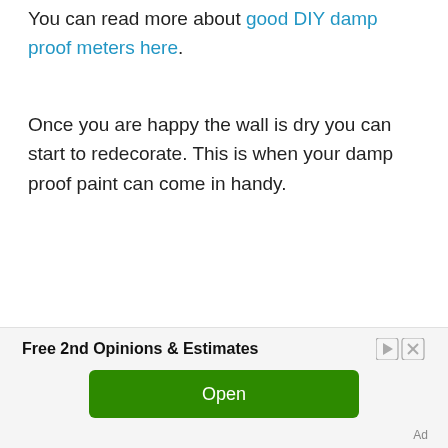You can read more about good DIY damp proof meters here.
Once you are happy the wall is dry you can start to redecorate. This is when your damp proof paint can come in handy.
[Figure (other): Advertisement banner with text 'Free 2nd Opinions & Estimates', ad controls (play and close icons), a green 'Open' button, and an 'Ad' label.]